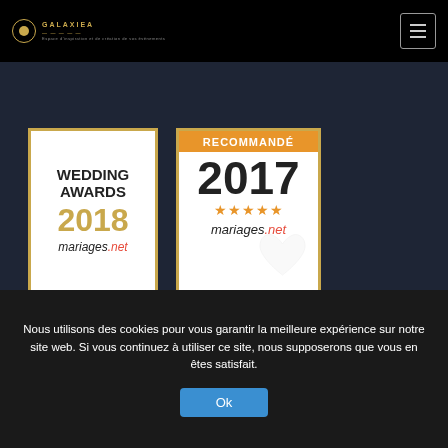GALAXIEA — logo and navigation
[Figure (logo): Wedding Awards 2018 mariages.net badge — gold border, white background with bold text WEDDING AWARDS 2018 in gold and black, mariages.net below]
[Figure (logo): Recommandé 2017 mariages.net badge — gold border, orange header banner RECOMMANDÉ, year 2017 in large bold text, five gold stars, mariages.net in italic]
CONTACT US
Nous utilisons des cookies pour vous garantir la meilleure expérience sur notre site web. Si vous continuez à utiliser ce site, nous supposerons que vous en êtes satisfait.
Ok